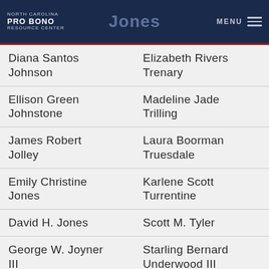North Carolina Pro Bono Resource Center
Diana Santos Johnson | Elizabeth Rivers Trenary
Ellison Green Johnstone | Madeline Jade Trilling
James Robert Jolley | Laura Boorman Truesdale
Emily Christine Jones | Karlene Scott Turrentine
David H. Jones | Scott M. Tyler
George W. Joyner III | Starling Bernard Underwood III